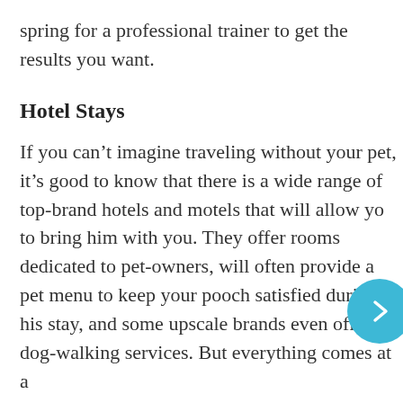spring for a professional trainer to get the results you want.
Hotel Stays
If you can't imagine traveling without your pet, it's good to know that there is a wide range of top-brand hotels and motels that will allow you to bring him with you. They offer rooms dedicated to pet-owners, will often provide a pet menu to keep your pooch satisfied during his stay, and some upscale brands even offer dog-walking services. But everything comes at a
price, including having Rover room in with you.